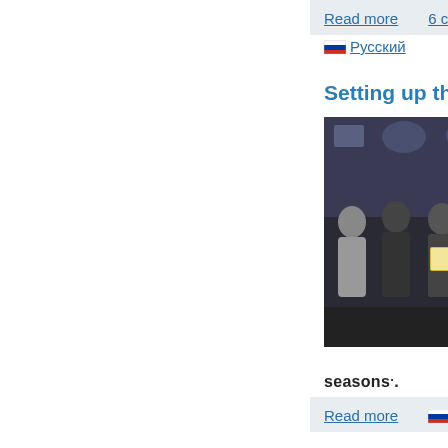Read more   6 com
🇷🇺 Русский
Setting up the co
[Figure (photo): Group photo of people holding framed awards in front of branded backdrop]
seasons".
Read more   🇷🇺 Ру
Interview with He